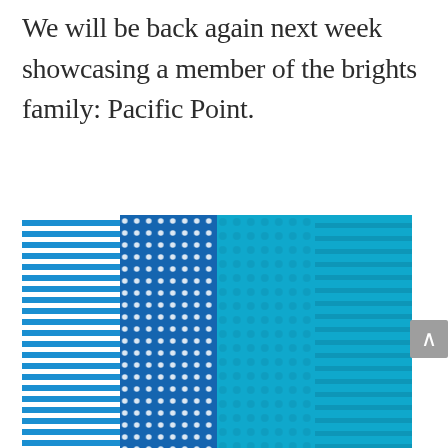We will be back again next week showcasing a member of the brights family: Pacific Point.
[Figure (photo): Four vertical panels of blue patterned fabric: horizontal blue and white stripes, dark blue with white polka dots, medium blue with lighter polka dots, and teal with horizontal stripes.]